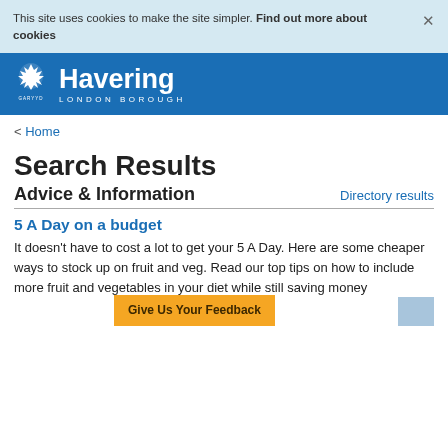This site uses cookies to make the site simpler. Find out more about cookies
[Figure (logo): Havering London Borough logo with white crest/snowflake icon and white text]
< Home
Search Results
Advice & Information
Directory results
5 A Day on a budget
It doesn't have to cost a lot to get your 5 A Day. Here are some cheaper ways to stock up on fruit and veg. Read our top tips on how to include more fruit and vegetables in your diet while still saving money